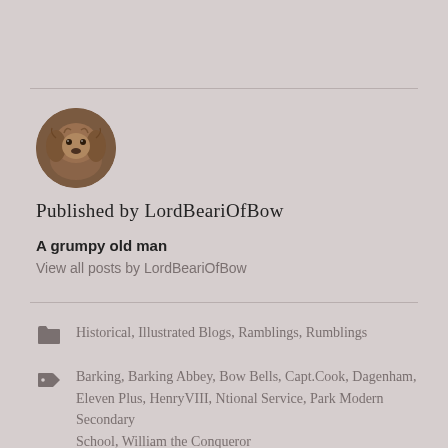[Figure (photo): Circular avatar photo of a brown/golden fluffy dog (cocker spaniel type)]
Published by LordBeariOfBow
A grumpy old man
View all posts by LordBeariOfBow
Historical, Illustrated Blogs, Ramblings, Rumblings
Barking, Barking Abbey, Bow Bells, Capt.Cook, Dagenham, Eleven Plus, HenryVIII, Ntional Service, Park Modern Secondary School, William the Conqueror